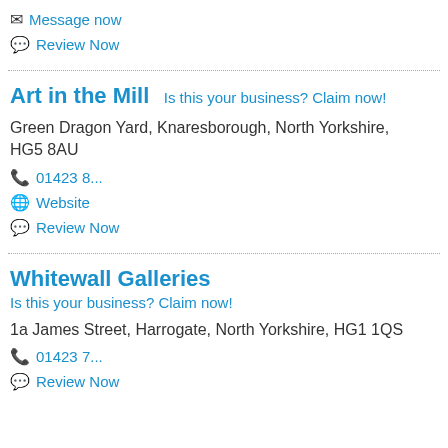Message now
Review Now
Art in the Mill
Is this your business? Claim now!
Green Dragon Yard, Knaresborough, North Yorkshire, HG5 8AU
01423 8...
Website
Review Now
Whitewall Galleries
Is this your business? Claim now!
1a James Street, Harrogate, North Yorkshire, HG1 1QS
01423 7...
Review Now